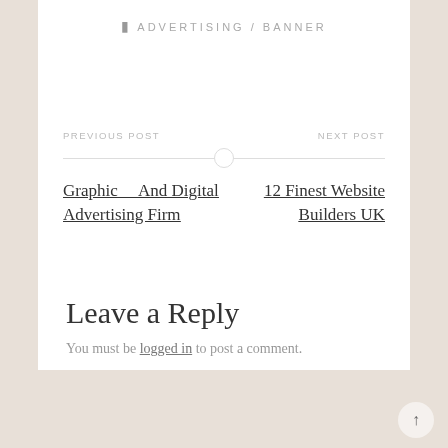ADVERTISING / BANNER
PREVIOUS POST
NEXT POST
Graphic And Digital Advertising Firm
12 Finest Website Builders UK
Leave a Reply
You must be logged in to post a comment.